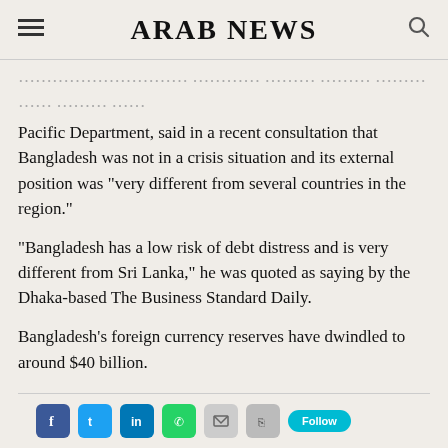ARAB NEWS
Pacific Department, said in a recent consultation that Bangladesh was not in a crisis situation and its external position was “very different from several countries in the region.”
“Bangladesh has a low risk of debt distress and is very different from Sri Lanka,” he was quoted as saying by the Dhaka-based The Business Standard Daily.
Bangladesh’s foreign currency reserves have dwindled to around $40 billion.